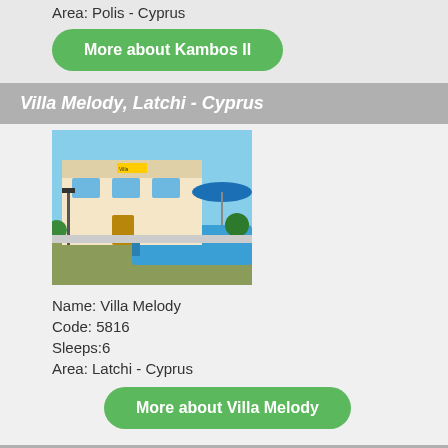Area: Polis - Cyprus
More about Kambos II
Villa Melody, Latchi - Cyprus
[Figure (photo): Photo of Villa Melody showing a villa with pool and blue umbrella]
Name: Villa Melody
Code: 5816
Sleeps:6
Area: Latchi - Cyprus
More about Villa Melody
Villa Georgiou, Coral Bay - Cyprus
[Figure (photo): Photo of Villa Georgiou showing a villa with pool and garden]
Name: Villa Ge...
Prices and availability at Morfo